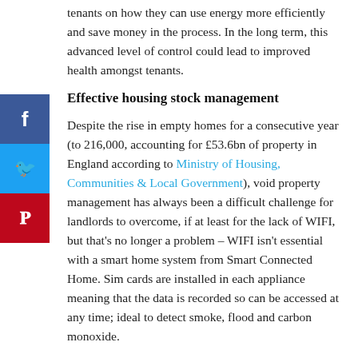tenants on how they can use energy more efficiently and save money in the process. In the long term, this advanced level of control could lead to improved health amongst tenants.
Effective housing stock management
Despite the rise in empty homes for a consecutive year (to 216,000, accounting for £53.6bn of property in England according to Ministry of Housing, Communities & Local Government), void property management has always been a difficult challenge for landlords to overcome, if at least for the lack of WIFI, but that's no longer a problem – WIFI isn't essential with a smart home system from Smart Connected Home. Sim cards are installed in each appliance meaning that the data is recorded so can be accessed at any time; ideal to detect smoke, flood and carbon monoxide.
Landlords can also receive an alert straight to their smartphone if an intrusion or any unusual activity is detected. Intruders and potential squatters can be